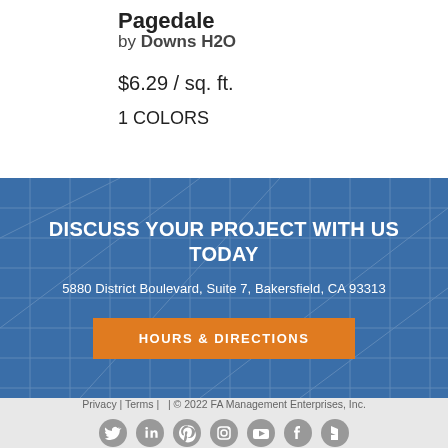Pagedale
by Downs H2O
$6.29 / sq. ft.
1 COLORS
DISCUSS YOUR PROJECT WITH US TODAY
5880 District Boulevard,  Suite 7,  Bakersfield, CA 93313
HOURS & DIRECTIONS
Privacy  |  Terms  |   |  © 2022 FA Management Enterprises, Inc.